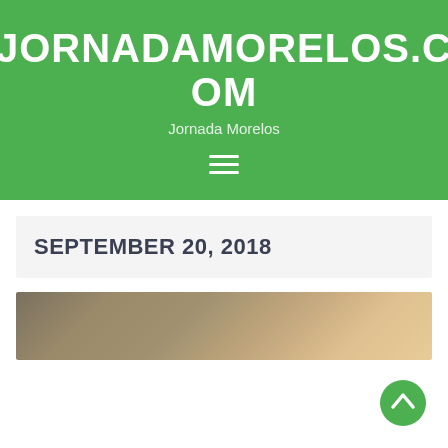JORNADAMORELOS.COM
Jornada Morelos
[Figure (other): Hamburger menu icon (three horizontal white lines)]
SEPTEMBER 20, 2018
[Figure (photo): Partial image strip showing a person and warm interior background]
[Figure (other): Scroll-to-top circular green button with upward chevron arrow]